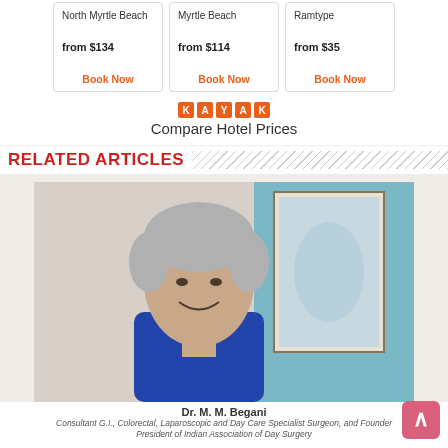| North Myrtle Beach | Myrtle Beach | Ramtype |
| --- | --- | --- |
| from $134 | from $114 | from $35 |
| Book Now | Book Now | Book Now |
[Figure (logo): KAYAK logo - orange squares with individual letters K, A, Y, A, K]
Compare Hotel Prices
RELATED ARTICLES
[Figure (photo): Dr. M. M. Begani - an elderly man with grey hair smiling, wearing blue scrubs, with a decorative blue painting in the background]
Dr. M. M. Begani
Consultant G.I., Colorectal, Laparoscopic and Day Care Specialist Surgeon, and Founder President of Indian Association of Day Surgery